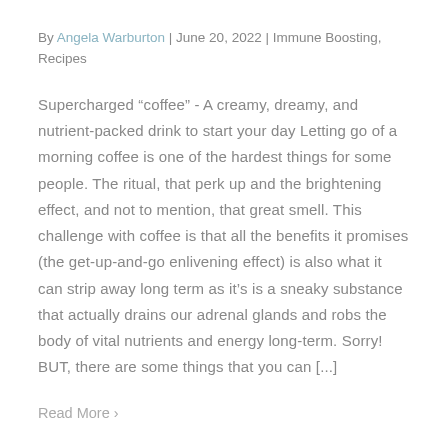By Angela Warburton | June 20, 2022 | Immune Boosting, Recipes
Supercharged “coffee” - A creamy, dreamy, and nutrient-packed drink to start your day Letting go of a morning coffee is one of the hardest things for some people. The ritual, that perk up and the brightening effect, and not to mention, that great smell. This challenge with coffee is that all the benefits it promises (the get-up-and-go enlivening effect) is also what it can strip away long term as it’s is a sneaky substance that actually drains our adrenal glands and robs the body of vital nutrients and energy long-term. Sorry! BUT, there are some things that you can [...]
Read More >